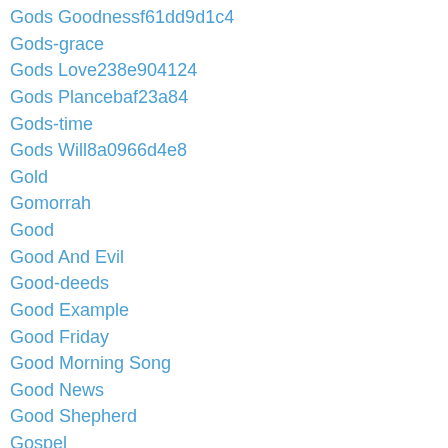Gods Goodnessf61dd9d1c4
Gods-grace
Gods Love238e904124
Gods Plancebaf23a84
Gods-time
Gods Will8a0966d4e8
Gold
Gomorrah
Good
Good And Evil
Good-deeds
Good Example
Good Friday
Good Morning Song
Good News
Good Shepherd
Gospel
Gossip
Grace
Gracious
Grain